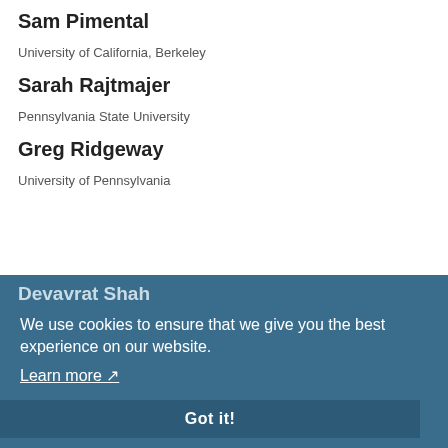Sam Pimental
University of California, Berkeley
Sarah Rajtmajer
Pennsylvania State University
Greg Ridgeway
University of Pennsylvania
Devavrat Shah
Massachusetts Institute of Technology
Nic...
Stanford University
James Sharpnack
We use cookies to ensure that we give you the best experience on our website.
Learn more
Got it!